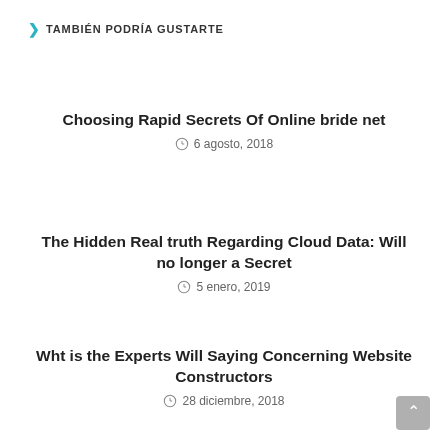TAMBIÉN PODRÍA GUSTARTE
Choosing Rapid Secrets Of Online bride net
6 agosto, 2018
The Hidden Real truth Regarding Cloud Data: Will no longer a Secret
5 enero, 2019
Wht is the Experts Will Saying Concerning Website Constructors
28 diciembre, 2018